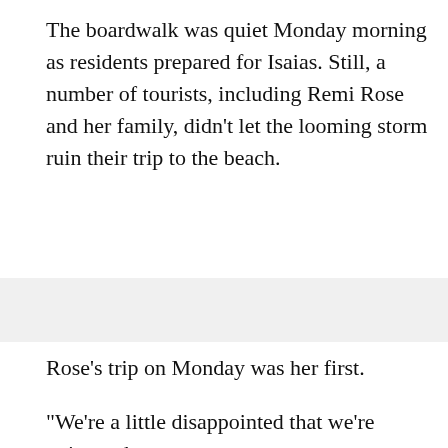The boardwalk was quiet Monday morning as residents prepared for Isaias. Still, a number of tourists, including Remi Rose and her family, didn't let the looming storm ruin their trip to the beach.
Rose's trip on Monday was her first.
"We're a little disappointed that we're going to have a little bit of rain while we're at the beach, you want beautiful sunny skies every day but we're hoping it's going to blow through and we'll be here for the whole week," one of Rose's family members said.
The impending storm didn't slow down